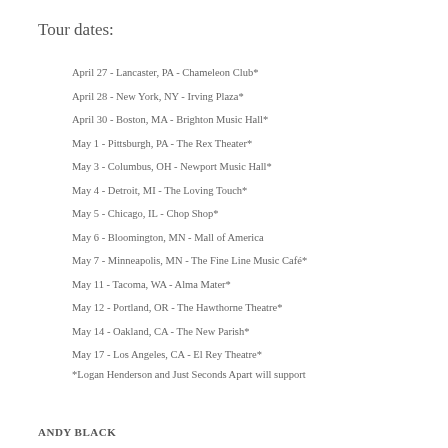Tour dates:
April 27 - Lancaster, PA - Chameleon Club*
April 28 - New York, NY - Irving Plaza*
April 30 - Boston, MA - Brighton Music Hall*
May 1 - Pittsburgh, PA - The Rex Theater*
May 3 - Columbus, OH - Newport Music Hall*
May 4 - Detroit, MI - The Loving Touch*
May 5 - Chicago, IL - Chop Shop*
May 6 - Bloomington, MN - Mall of America
May 7 - Minneapolis, MN - The Fine Line Music Café*
May 11 - Tacoma, WA - Alma Mater*
May 12 - Portland, OR - The Hawthorne Theatre*
May 14 - Oakland, CA - The New Parish*
May 17 - Los Angeles, CA - El Rey Theatre*
*Logan Henderson and Just Seconds Apart will support
ANDY BLACK